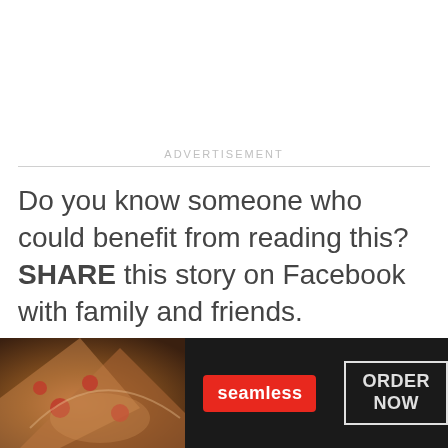ADVERTISEMENT
Do you know someone who could benefit from reading this? SHARE this story on Facebook with family and friends.
[Figure (other): Two social sharing buttons: a dark blue Facebook button and a light blue Twitter/share button, with a close (X) circle button to the right]
[Figure (other): Seamless food ordering advertisement banner with pizza image on the left, Seamless red logo in the center, and ORDER NOW box on the right against a dark background]